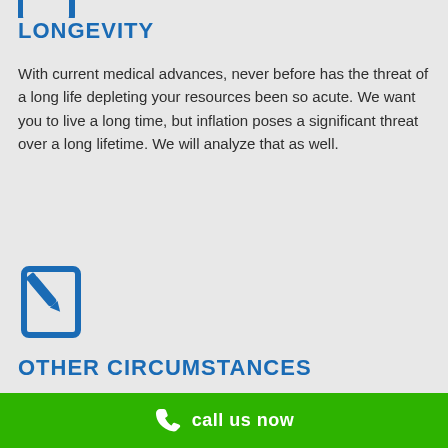LONGEVITY
With current medical advances, never before has the threat of a long life depleting your resources been so acute. We want you to live a long time, but inflation poses a significant threat over a long lifetime. We will analyze that as well.
[Figure (illustration): Blue icon of a document with a pencil/edit symbol]
OTHER CIRCUMSTANCES
Education, Disability, Long-Term Care, Business Sale,
call us now